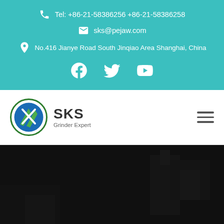Tel: +86-21-58386256 +86-21-58386258
sks@pejaw.com
No.416 Jianye Road South Jinqiao Area Shanghai, China
[Figure (logo): Social media icons: Facebook, Twitter, YouTube]
[Figure (logo): SKS Grinder Expert logo with circular emblem]
hammer and hit a small